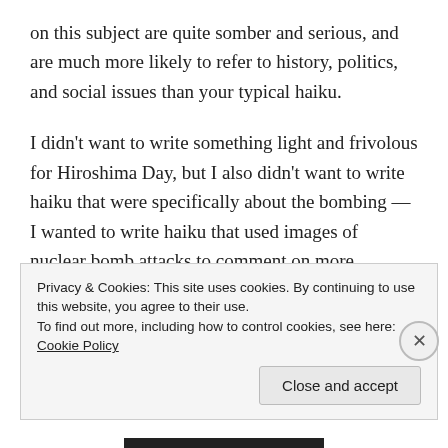on this subject are quite somber and serious, and are much more likely to refer to history, politics, and social issues than your typical haiku.
I didn't want to write something light and frivolous for Hiroshima Day, but I also didn't want to write haiku that were specifically about the bombing — I wanted to write haiku that used images of nuclear bomb attacks to comment on more personal matters. It's hard to know whether this approach is respectful of the suffering of the bombing victims or whether it's cluelessly callous — after all, it was my country that dropped those bombs.
Privacy & Cookies: This site uses cookies. By continuing to use this website, you agree to their use.
To find out more, including how to control cookies, see here: Cookie Policy
Close and accept